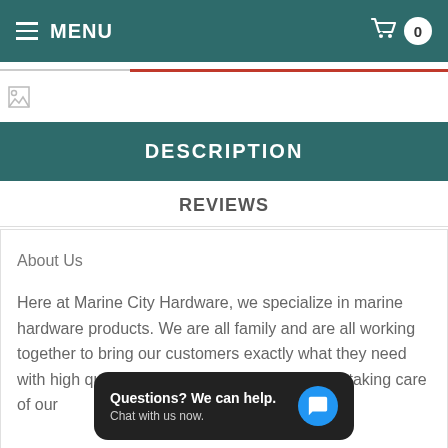MENU  0
[Figure (screenshot): Broken image placeholder icon in white area below nav]
DESCRIPTION
REVIEWS
About Us
Here at Marine City Hardware, we specialize in marine hardware products. We are all family and are all working together to bring our customers exactly what they need with high quality, low prices, fast shipping, and taking care of our
[Figure (screenshot): Chat popup overlay: 'Questions? We can help. Chat with us now.' with blue speech bubble button]